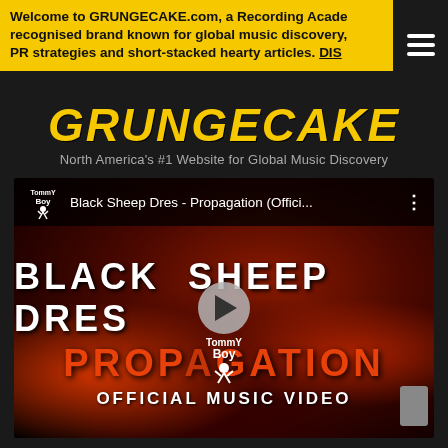Welcome to GRUNGECAKE.com, a Recording Academy recognised brand known for global music discovery, PR strategies and short-stacked hearty articles. DIS
GRUNGECAKE
North America's #1 Website for Global Music Discovery
[Figure (screenshot): YouTube video thumbnail for 'Black Sheep Dres - Propagation (Offici...' showing a music video with dark red background, crowd imagery, bold white text 'BLACK SHEEP DRES', orange text 'PROPAGATION', white text 'OFFICIAL MUSIC VIDEO', Tommy Boy logo, and a play button overlay.]